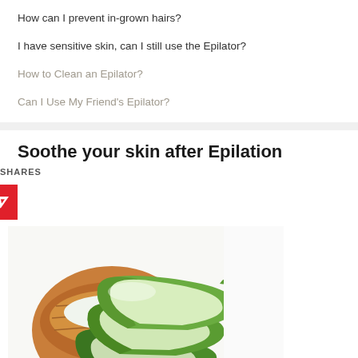How can I prevent in-grown hairs?
I have sensitive skin, can I still use the Epilator?
How to Clean an Epilator?
Can I Use My Friend's Epilator?
Soothe your skin after Epilation
SHARES
[Figure (photo): Stacked slices of aloe vera with a wooden bowl of aloe cream in the background, on white background]